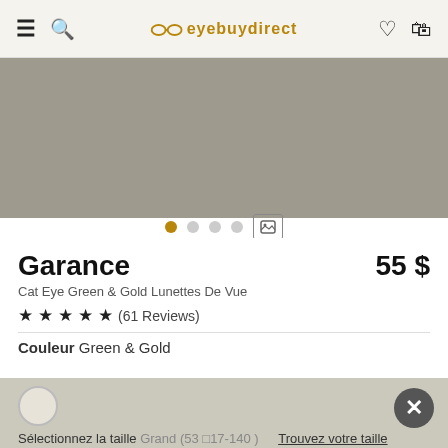eyebuydirect navigation bar with hamburger menu, search, logo, heart and bag icons
[Figure (photo): Gray product image area for Garance eyeglasses]
• (dot indicators) active dot, 3 inactive dots, photo icon
Garance   55 $
Cat Eye Green & Gold Lunettes De Vue
★★★★★ (61 Reviews)
Couleur  Green & Gold
Sélectionnez la taille  Grand (53 □17-140 )   Trouvez votre taille
L